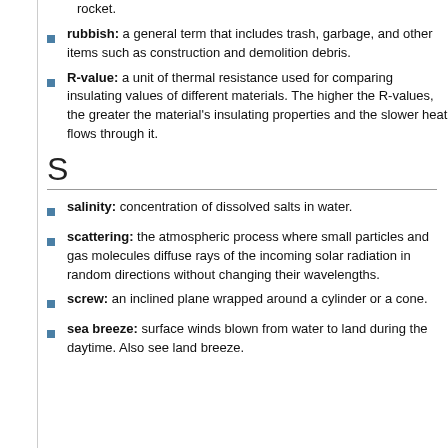rubbish: a general term that includes trash, garbage, and other items such as construction and demolition debris.
R-value: a unit of thermal resistance used for comparing insulating values of different materials. The higher the R-values, the greater the material's insulating properties and the slower heat flows through it.
S
salinity: concentration of dissolved salts in water.
scattering: the atmospheric process where small particles and gas molecules diffuse rays of the incoming solar radiation in random directions without changing their wavelengths.
screw: an inclined plane wrapped around a cylinder or a cone.
sea breeze: surface winds blown from water to land during the daytime. Also see land breeze.